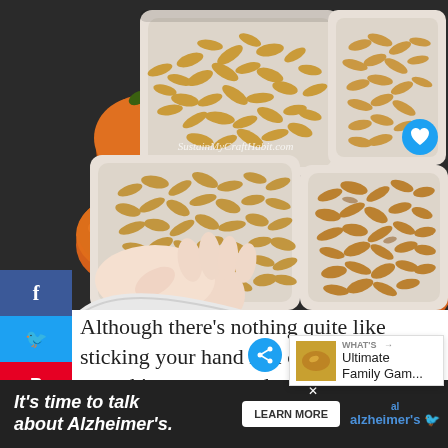[Figure (photo): Overhead photo of four white square bowls filled with roasted pumpkin seeds on a dark background, with several small orange pumpkins arranged around them. A child's hand reaches into one of the bowls.]
Although there's nothing quite like sticking your hand in a cold, slimy, wet pumpkin to pu... seeds, you can also buy raw pumpkin seeds year-ro... since ... th...
[Figure (other): Advertisement banner: It's time to talk about Alzheimer's. LEARN MORE. Alzheimer's Association logo.]